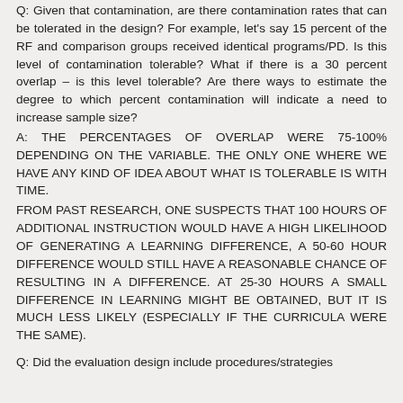Q: Given that contamination, are there contamination rates that can be tolerated in the design? For example, let's say 15 percent of the RF and comparison groups received identical programs/PD. Is this level of contamination tolerable? What if there is a 30 percent overlap – is this level tolerable? Are there ways to estimate the degree to which percent contamination will indicate a need to increase sample size?
A: THE PERCENTAGES OF OVERLAP WERE 75-100% DEPENDING ON THE VARIABLE. THE ONLY ONE WHERE WE HAVE ANY KIND OF IDEA ABOUT WHAT IS TOLERABLE IS WITH TIME.
FROM PAST RESEARCH, ONE SUSPECTS THAT 100 HOURS OF ADDITIONAL INSTRUCTION WOULD HAVE A HIGH LIKELIHOOD OF GENERATING A LEARNING DIFFERENCE, A 50-60 HOUR DIFFERENCE WOULD STILL HAVE A REASONABLE CHANCE OF RESULTING IN A DIFFERENCE. AT 25-30 HOURS A SMALL DIFFERENCE IN LEARNING MIGHT BE OBTAINED, BUT IT IS MUCH LESS LIKELY (ESPECIALLY IF THE CURRICULA WERE THE SAME).
Q: Did the evaluation design include procedures/strategies